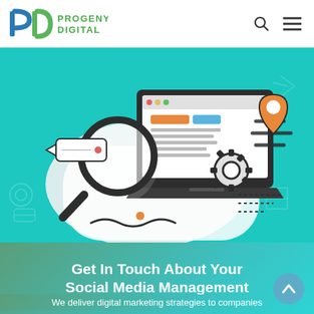Progeny Digital
[Figure (illustration): Digital marketing illustration on teal background showing a laptop with magnifying glass, search/SEO elements, gear icon, location pin, and floating speed lines. Background has faint outlines of digital marketing icons.]
Get In Touch About Your Social Media Management
We deliver digital marketing strategies to companies